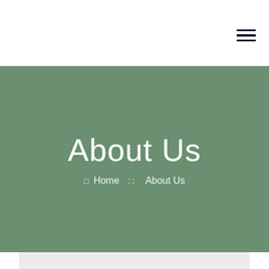☰ (hamburger menu icon)
About Us
⊞  Home  ::  About Us
[Figure (other): Light gray rectangular section at the bottom of the page]